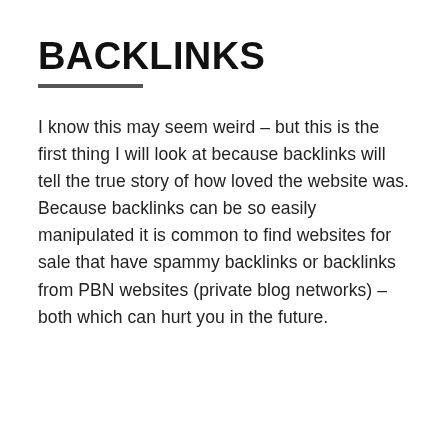BACKLINKS
I know this may seem weird – but this is the first thing I will look at because backlinks will tell the true story of how loved the website was. Because backlinks can be so easily manipulated it is common to find websites for sale that have spammy backlinks or backlinks from PBN websites (private blog networks) – both which can hurt you in the future.